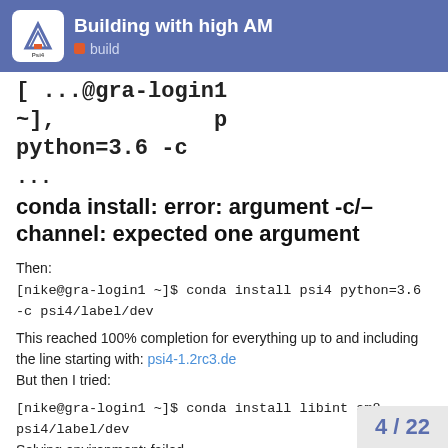Building with high AM  build
[ ...@gra-login1 ~], python=3.6 -c
...
conda install: error: argument -c/–channel: expected one argument
Then:
[nike@gra-login1 ~]$ conda install psi4 python=3.6 -c psi4/label/dev
This reached 100% completion for everything up to and including the line starting with: psi4-1.2rc3.de
But then I tried:
[nike@gra-login1 ~]$ conda install libint am8 psi4/label/dev
Solving environment: failed
PackagesNotFoundError: The following pa available from current channels:
4 / 22